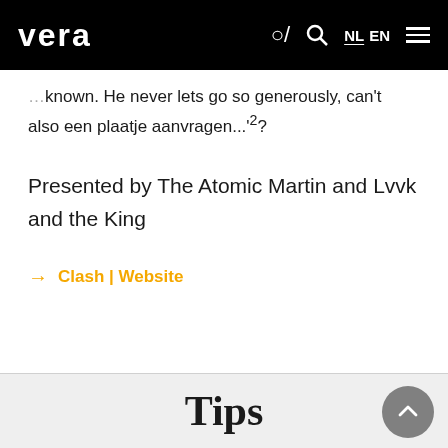vera NL EN
…known. He never lets go so generously, can't also een plaatje aanvragen...'²
Presented by The Atomic Martin and Lvvk and the King
→ Clash | Website
Tips